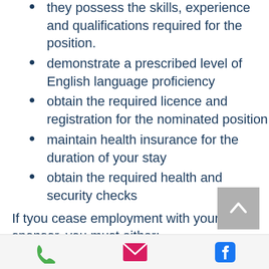they possess the skills, experience and qualifications required for the position.
demonstrate a prescribed level of English language proficiency
obtain the required licence and registration for the nominated position
maintain health insurance for the duration of your stay
obtain the required health and security checks
If tyou cease employment with your sponsor, you must either:
find another employer who will sponsor/nominate you for employment or
apply for another visa or
leave Australia within 60 days
phone | email | facebook